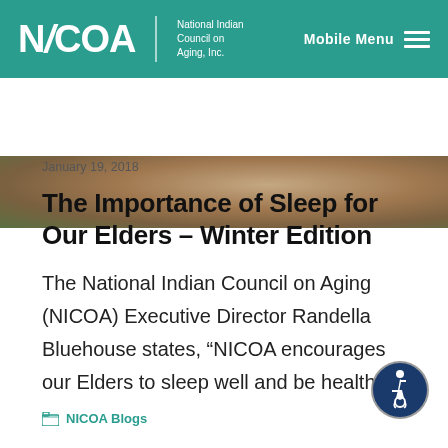NICOA | National Indian Council on Aging, Inc. — Mobile Menu
[Figure (photo): Close-up photo of tree bark texture with green foliage in background]
January 19, 2018
The Importance of Sleep for Our Elders – Winter Edition
The National Indian Council on Aging (NICOA) Executive Director Randella Bluehouse states, “NICOA encourages our Elders to sleep well and be healthy
NICOA Blogs